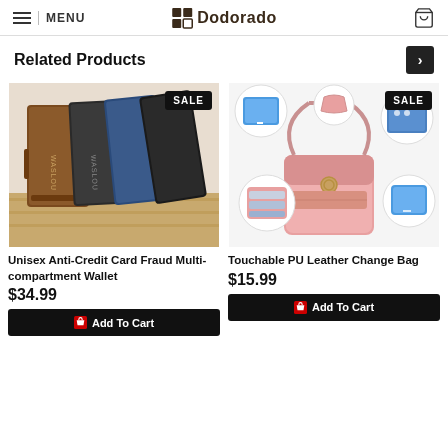MENU | Dodorado [logo] [cart]
Related Products
[Figure (photo): Unisex Anti-Credit Card Fraud Multi-compartment Wallet product photo showing brown, black, blue and dark wallets with SALE badge]
Unisex Anti-Credit Card Fraud Multi-compartment Wallet
$34.99
[Figure (photo): Touchable PU Leather Change Bag product photo showing pink crossbody bag with phone window and SALE badge]
Touchable PU Leather Change Bag
$15.99